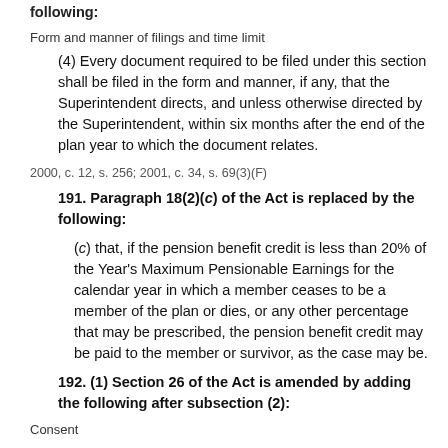following:
Form and manner of filings and time limit
(4) Every document required to be filed under this section shall be filed in the form and manner, if any, that the Superintendent directs, and unless otherwise directed by the Superintendent, within six months after the end of the plan year to which the document relates.
2000, c. 12, s. 256; 2001, c. 34, s. 69(3)(F)
191. Paragraph 18(2)(c) of the Act is replaced by the following:
(c) that, if the pension benefit credit is less than 20% of the Year's Maximum Pensionable Earnings for the calendar year in which a member ceases to be a member of the plan or dies, or any other percentage that may be prescribed, the pension benefit credit may be paid to the member or survivor, as the case may be.
192. (1) Section 26 of the Act is amended by adding the following after subsection (2):
Consent